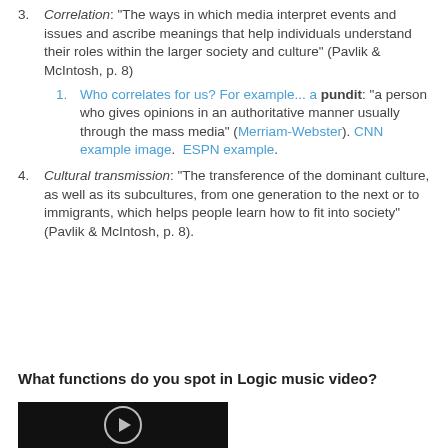3. Correlation: "The ways in which media interpret events and issues and ascribe meanings that help individuals understand their roles within the larger society and culture" (Pavlik & McIntosh, p. 8)
1. Who correlates for us? For example... a pundit: "a person who gives opinions in an authoritative manner usually through the mass media" (Merriam-Webster). CNN example image.  ESPN example.
4. Cultural transmission: "The transference of the dominant culture, as well as its subcultures, from one generation to the next or to immigrants, which helps people learn how to fit into society" (Pavlik & McIntosh, p. 8).
What functions do you spot in Logic music video?
[Figure (photo): Bottom portion of a video thumbnail showing a dark background with a circular logo/emblem at the bottom center]